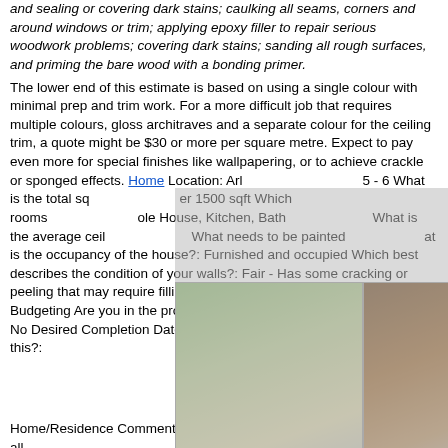and sealing or covering dark stains; caulking all seams, corners and around windows or trim; applying epoxy filler to repair serious woodwork problems; covering dark stains; sanding all rough surfaces, and priming the bare wood with a bonding primer.
The lower end of this estimate is based on using a single colour with minimal prep and trim work. For a more difficult job that requires multiple colours, gloss architraves and a separate colour for the ceiling trim, a quote might be $30 or more per square metre. Expect to pay even more for special finishes like wallpapering, or to achieve crackle or sponged effects. Home...
[Figure (photo): Three photos showing people working on ladders painting house exteriors, overlaid with a semi-transparent gray panel with a close X button]
Location: Arlington ... 5 - 6 What is the total sq... over 1500 sqft Which rooms... Whole House, Kitchen, Bath... What is the average ceil... What needs to be painted... at is the occupancy of the house?: Furnished and occupied Which best describes the condition of your walls?: Fair - Has some cracking or peeling that may require filling and patching Request Stage: Planning & Budgeting Are you in the process of moving into or out of this home?: No Desired Completion Date: Within 1 week What kind of location is this?:
Home/Residence Comment: I just need a quote on the painting job of all